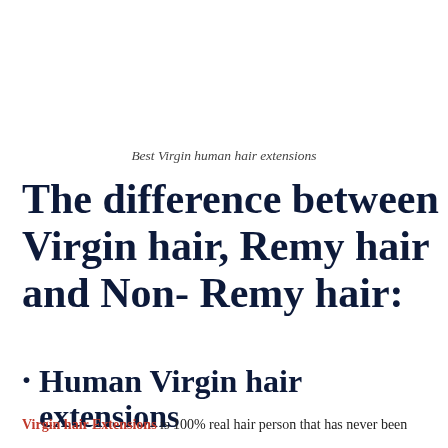Best Virgin human hair extensions
The difference between Virgin hair, Remy hair and Non- Remy hair:
· Human Virgin hair extensions
Virgin hair Extensions is 100% real hair person that has never been